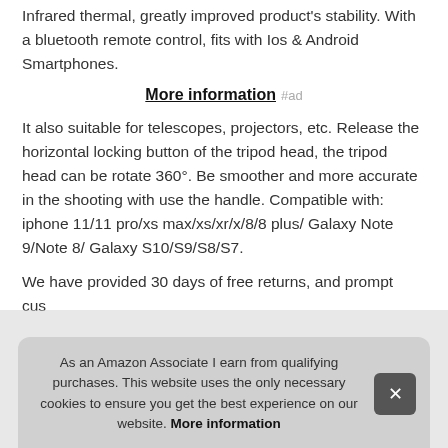Infrared thermal, greatly improved product's stability. With a bluetooth remote control, fits with Ios & Android Smartphones.
More information #ad
It also suitable for telescopes, projectors, etc. Release the horizontal locking button of the tripod head, the tripod head can be rotate 360°. Be smoother and more accurate in the shooting with use the handle. Compatible with: iphone 11/11 pro/xs max/xs/xr/x/8/8 plus/ Galaxy Note 9/Note 8/ Galaxy S10/S9/S8/S7.
We have provided 30 days of free returns, and prompt cus... dsL... Son... heig... this...
As an Amazon Associate I earn from qualifying purchases. This website uses the only necessary cookies to ensure you get the best experience on our website. More information